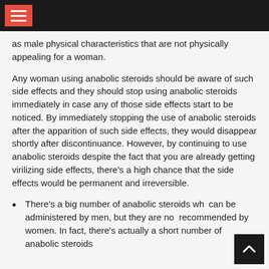as male physical characteristics that are not physically appealing for a woman.
Any woman using anabolic steroids should be aware of such side effects and they should stop using anabolic steroids immediately in case any of those side effects start to be noticed. By immediately stopping the use of anabolic steroids after the apparition of such side effects, they would disappear shortly after discontinuance. However, by continuing to use anabolic steroids despite the fact that you are already getting virilizing side effects, there’s a high chance that the side effects would be permanent and irreversible.
There’s a big number of anabolic steroids which can be administered by men, but they are not recommended by women. In fact, there’s actually a short number of anabolic steroids